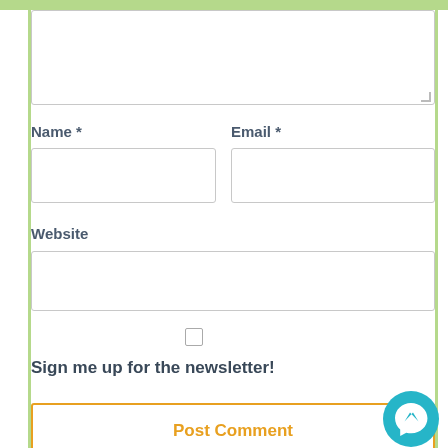[Figure (screenshot): Comment form textarea (empty)]
Name *
Email *
[Figure (screenshot): Name input field (empty)]
[Figure (screenshot): Email input field (empty)]
Website
[Figure (screenshot): Website input field (empty)]
[Figure (screenshot): Checkbox (unchecked) for newsletter signup]
Sign me up for the newsletter!
Post Comment
[Figure (illustration): Facebook Messenger chat icon button (teal circle)]